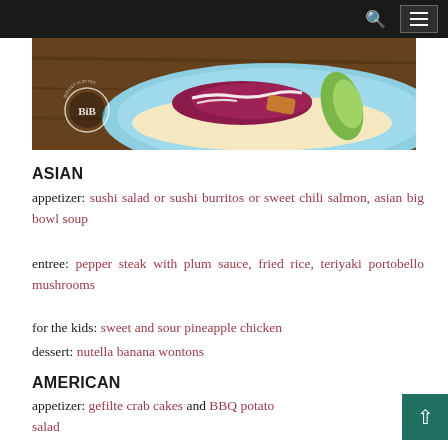navigation bar with search icon and menu button
[Figure (photo): Food photo showing a taco or wrap with red cabbage slaw on a light blue plate, with a circular BIB logo watermark on the lower left of the image.]
ASIAN
appetizer: sushi salad or sushi burritos or sweet chili salmon, asian big bowl soup
entree: pepper steak with plum sauce, fried rice, teriyaki portobello mushrooms
for the kids: sweet and sour pineapple chicken
dessert: nutella banana wontons
AMERICAN
appetizer: gefilte crab cakes and BBQ potato salad